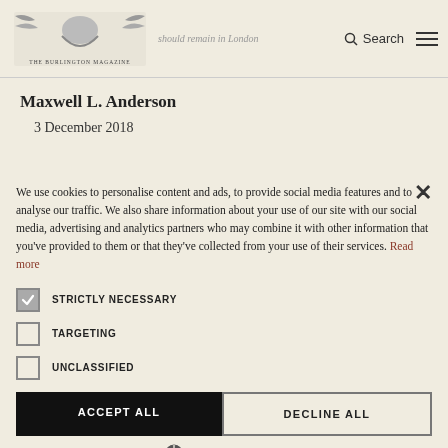should remain in London
[Figure (logo): The Burlington Magazine logo/masthead with decorative illustrated figure]
Search
Maxwell L. Anderson
3 December 2018
We use cookies to personalise content and ads, to provide social media features and to analyse our traffic. We also share information about your use of our site with our social media, advertising and analytics partners who may combine it with other information that you've provided to them or that they've collected from your use of their services. Read more
STRICTLY NECESSARY
TARGETING
UNCLASSIFIED
ACCEPT ALL
DECLINE ALL
SHOW DETAILS